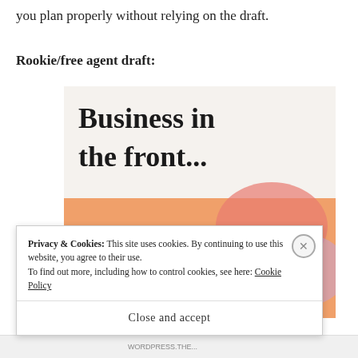you plan properly without relying on the draft.
Rookie/free agent draft:
[Figure (screenshot): Advertisement image with two sections: top half shows 'Business in the front...' text on a light beige/white background, bottom half shows 'WordPress in the back.' text on an orange/peach background with abstract colorful blob shapes.]
Privacy & Cookies: This site uses cookies. By continuing to use this website, you agree to their use.
To find out more, including how to control cookies, see here: Cookie Policy
Close and accept